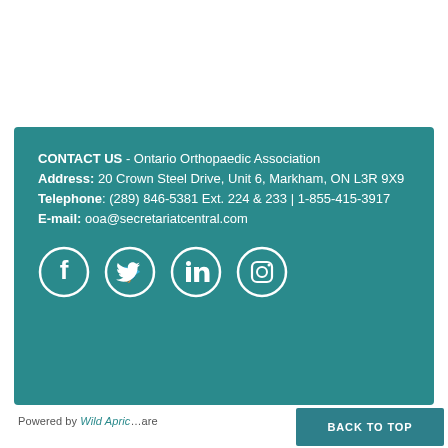CONTACT US - Ontario Orthopaedic Association
Address: 20 Crown Steel Drive, Unit 6, Markham, ON L3R 9X9
Telephone: (289) 846-5381 Ext. 224 & 233 | 1-855-415-3917
E-mail: ooa@secretariatcentral.com
[Figure (illustration): Row of four social media icons (Facebook, Twitter, LinkedIn, Instagram) as white circle outlines on teal background]
Powered by Wild Apricot are | BACK TO TOP